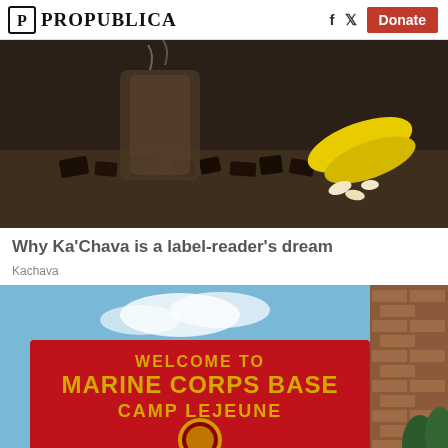ProPublica | Donate
[Figure (photo): Close-up photo of chocolate pieces, banana, and a drink container on a dark surface]
Why Ka’Chava is a label-reader’s dream
Kachava
[Figure (photo): Photo of the Welcome to Marine Corps Base Camp Lejeune entrance sign with unit emblems and brick wall]